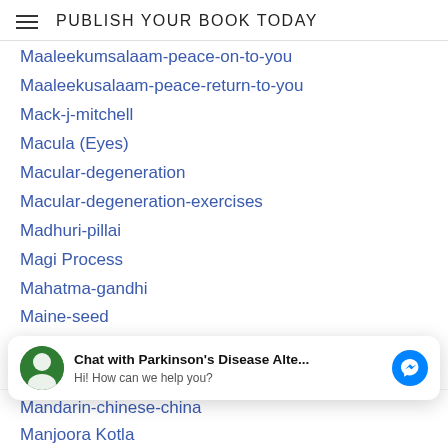PUBLISH YOUR BOOK TODAY
Maaleekumsalaam-peace-on-to-you
Maaleekusalaam-peace-return-to-you
Mack-j-mitchell
Macula (Eyes)
Macular-degeneration
Macular-degeneration-exercises
Madhuri-pillai
Magi Process
Mahatma-gandhi
Maine-seed
Makah-native-american
Malawi-afrikaans
Malayalam
Malayalam (India)
Chat with Parkinson's Disease Alte... Hi! How can we help you?
Mandarin-chinese-china
Manjoora Kotla